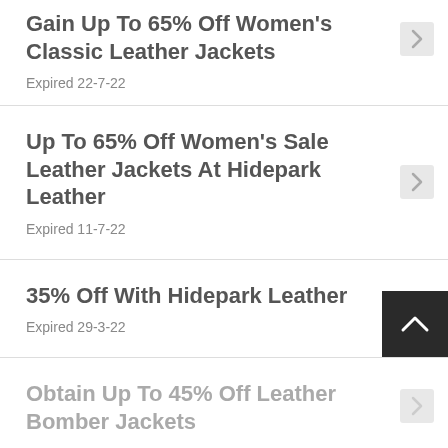Gain Up To 65% Off Women's Classic Leather Jackets
Expired 22-7-22
Up To 65% Off Women's Sale Leather Jackets At Hidepark Leather
Expired 11-7-22
35% Off With Hidepark Leather
Expired 29-3-22
Obtain Up To 45% Off Leather Bomber Jackets